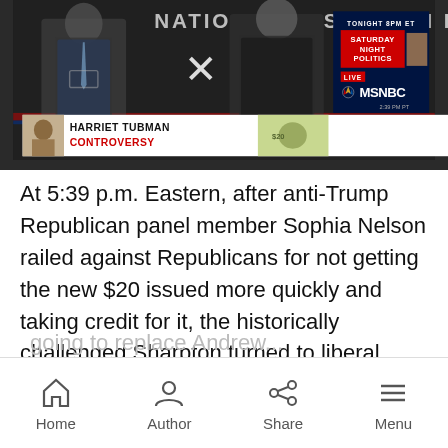[Figure (screenshot): MSNBC broadcast screenshot showing two men in suits with lower-third graphic 'HARRIET TUBMAN CONTROVERSY', an MSNBC logo, 'TONIGHT 8PM ET SATURDAY NIGHT POLITICS' panel, and a close/X button overlay]
At 5:39 p.m. Eastern, after anti-Trump Republican panel member Sophia Nelson railed against Republicans for not getting the new $20 issued more quickly and taking credit for it, the historically challenged Sharpton turned to liberal comedian Dean Obeidallah and posed:
Home  Author  Share  Menu